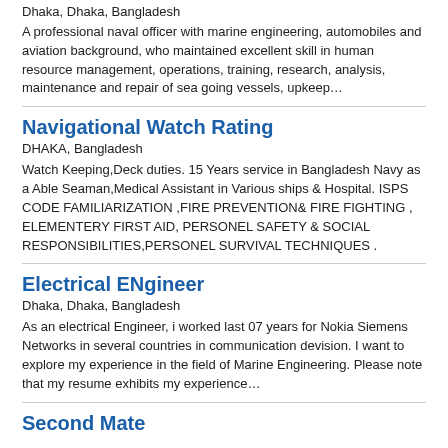Dhaka, Dhaka, Bangladesh
A professional naval officer with marine engineering, automobiles and aviation background, who maintained excellent skill in human resource management, operations, training, research, analysis, maintenance and repair of sea going vessels, upkeep…
Navigational Watch Rating
DHAKA, Bangladesh
Watch Keeping,Deck duties. 15 Years service in Bangladesh Navy as a Able Seaman,Medical Assistant in Various ships & Hospital. ISPS CODE FAMILIARIZATION ,FIRE PREVENTION& FIRE FIGHTING , ELEMENTERY FIRST AID, PERSONEL SAFETY & SOCIAL RESPONSIBILITIES,PERSONEL SURVIVAL TECHNIQUES .
Electrical ENgineer
Dhaka, Dhaka, Bangladesh
As an electrical Engineer, i worked last 07 years for Nokia Siemens Networks in several countries in communication devision. I want to explore my experience in the field of Marine Engineering. Please note that my resume exhibits my experience…
Second Mate